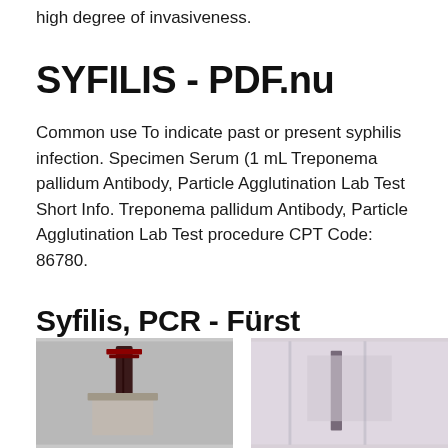high degree of invasiveness.
SYFILIS - PDF.nu
Common use To indicate past or present syphilis infection. Specimen Serum (1 mL Treponema pallidum Antibody, Particle Agglutination Lab Test Short Info. Treponema pallidum Antibody, Particle Agglutination Lab Test procedure CPT Code: 86780.
Syfilis, PCR - Fürst
[Figure (photo): Two photos side by side showing medical/laboratory related images, partially cut off at the bottom of the page.]